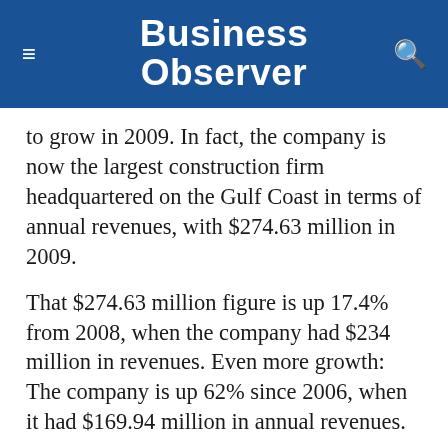Business Observer
to grow in 2009. In fact, the company is now the largest construction firm headquartered on the Gulf Coast in terms of annual revenues, with $274.63 million in 2009.
That $274.63 million figure is up 17.4% from 2008, when the company had $234 million in revenues. Even more growth: The company is up 62% since 2006, when it had $169.94 million in annual revenues.
Clearly, the aggressive posture the firm decided to take 18 months ago was a big boost, says Sharp. But